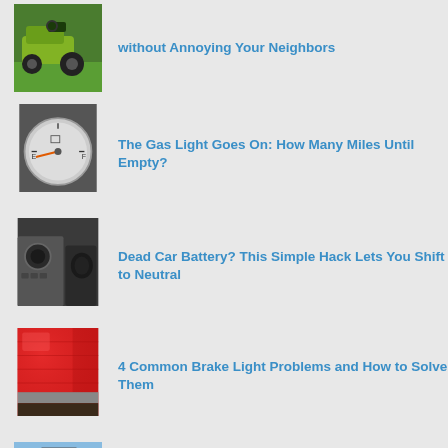without Annoying Your Neighbors
The Gas Light Goes On: How Many Miles Until Empty?
Dead Car Battery? This Simple Hack Lets You Shift to Neutral
4 Common Brake Light Problems and How to Solve Them
3 Kinds of Brake Noise You Should Never Ignore